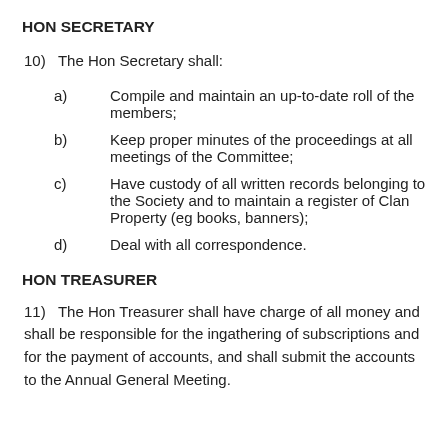HON SECRETARY
10)   The Hon Secretary shall:
a)    Compile and maintain an up-to-date roll of the members;
b)    Keep proper minutes of the proceedings at all meetings of the Committee;
c)    Have custody of all written records belonging to the Society and to maintain a register of Clan Property (eg books, banners);
d)    Deal with all correspondence.
HON TREASURER
11)   The Hon Treasurer shall have charge of all money and shall be responsible for the ingathering of subscriptions and for the payment of accounts, and shall submit the accounts to the Annual General Meeting.